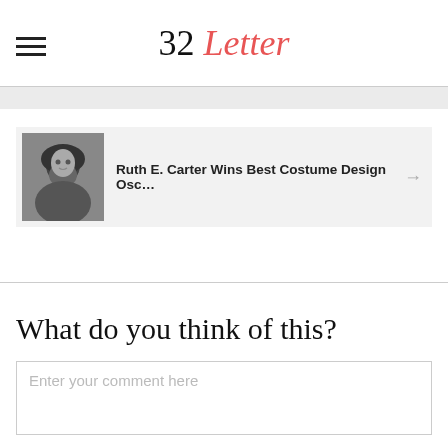32 Letter
[Figure (photo): Black and white portrait photo of a woman with curly hair]
Ruth E. Carter Wins Best Costume Design Osc…
What do you think of this?
Enter your comment here